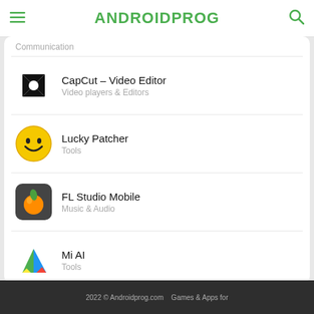ANDROIDPROG
Communication
CapCut – Video Editor
Video players & Editors
Lucky Patcher
Tools
FL Studio Mobile
Music & Audio
Mi AI
Tools
2022 © Androidprog.com  Games & Apps for